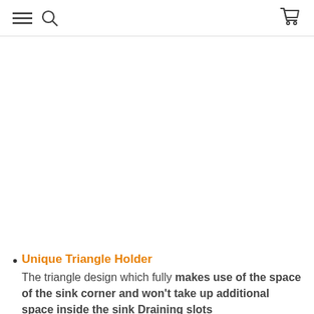[Navigation bar with menu, search, and cart icons]
Unique Triangle Holder
The triangle design which fully makes use of the space of the sink corner and won't take up additional space inside the sink Draining slots